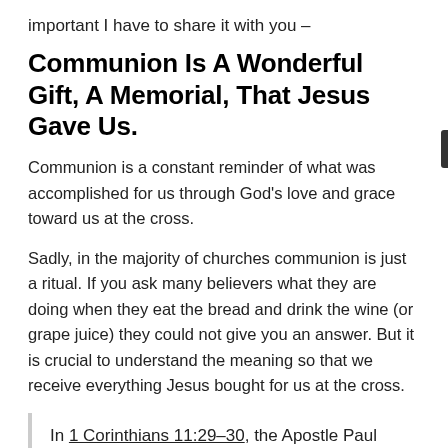important I have to share it with you –
Communion Is A Wonderful Gift, A Memorial, That Jesus Gave Us.
Communion is a constant reminder of what was accomplished for us through God's love and grace toward us at the cross.
Sadly, in the majority of churches communion is just a ritual. If you ask many believers what they are doing when they eat the bread and drink the wine (or grape juice) they could not give you an answer. But it is crucial to understand the meaning so that we receive everything Jesus bought for us at the cross.
In 1 Corinthians 11:29–30, the Apostle Paul tells us clearly that the one reason some